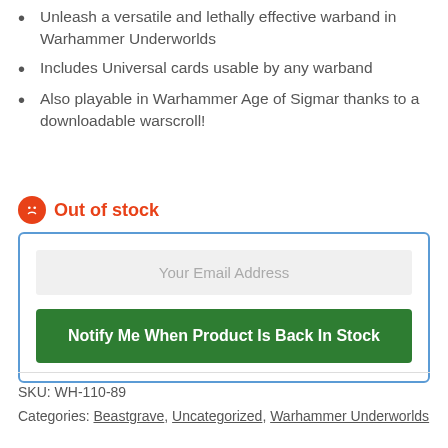Unleash a versatile and lethally effective warband in Warhammer Underworlds
Includes Universal cards usable by any warband
Also playable in Warhammer Age of Sigmar thanks to a downloadable warscroll!
Out of stock
Your Email Address
Notify Me When Product Is Back In Stock
SKU: WH-110-89
Categories: Beastgrave, Uncategorized, Warhammer Underworlds